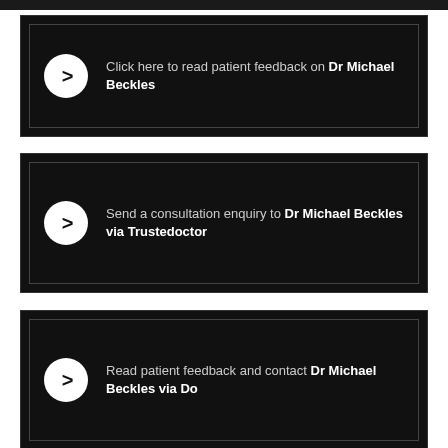Click here to read patient feedback on Dr Michael Beckles
Send a consultation enquiry to Dr Michael Beckles via Trustedoctor
Read patient feedback and contact Dr Michael Beckles via Doclife